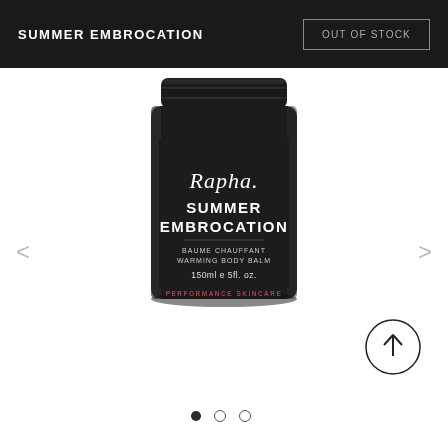SUMMER EMBROCATION
OUT OF STOCK
[Figure (photo): A black cylindrical jar with a screw-top lid. Label reads: Rapha. SUMMER EMBROCATION BAUME CHAUFFANT WARMING BODY BALM 150ml e 5fl. oz. PERFORMANCE SKINCARE]
SUMMER EMBROCATION